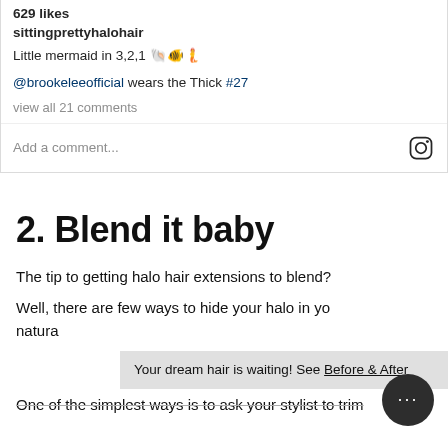629 likes
sittingprettyhalohair
Little mermaid in 3,2,1 🐚🐠🧜
@brookeleeofficial wears the Thick #27
view all 21 comments
Add a comment...
2. Blend it baby
The tip to getting halo hair extensions to blend?
Well, there are few ways to hide your halo in yo... natura...
One of the simplest ways is to ask your stylist to trim
Your dream hair is waiting! See Before & After